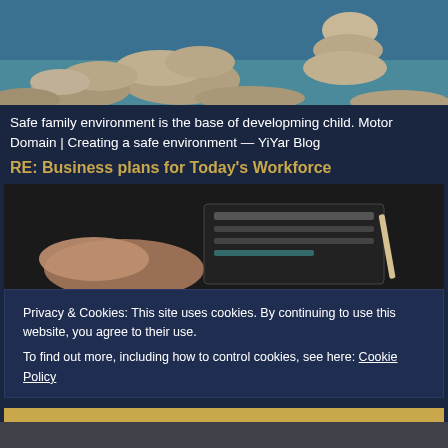[Figure (photo): Stacked river stones/pebbles balanced on top of each other near water with a blue-green background]
Safe family environment is the base of developming child. Motor Domain | Creating a safe environment — YiYar Blog
RE: Business plans for Today's Workforce
[Figure (photo): Close-up of a hand holding a dark notebook/planner with a pencil visible, dark background]
Privacy & Cookies: This site uses cookies. By continuing to use this website, you agree to their use.
To find out more, including how to control cookies, see here: Cookie Policy
Close and accept
[Figure (photo): Partial bottom strip showing another photo below]